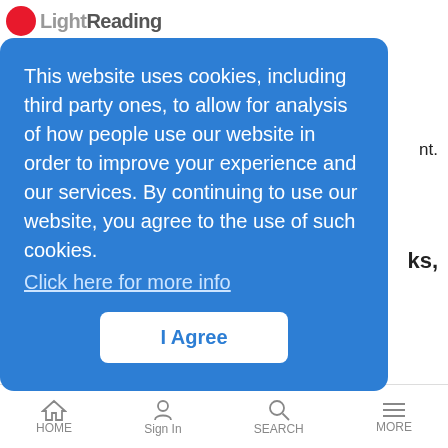Light Reading
nt.
ks,
on rd in the arter.
ales
[Figure (screenshot): Cookie consent modal overlay with blue background. Text reads: 'This website uses cookies, including third party ones, to allow for analysis of how people use our website in order to improve your experience and our services. By continuing to use our website, you agree to the use of such cookies.' with a 'Click here for more info' link and an 'I Agree' button.]
should worry Europe
News Analysis | 3/19/2019
The one-time enfant terrible of French mobile market has become a victim of hyper-competitive market conditions.
Eurobites: US Tries to Strong-Arm UK Over 5G
HOME  Sign In  SEARCH  MORE